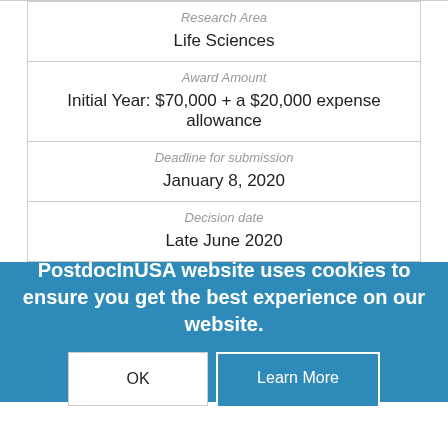| Research Area | Life Sciences |
| Award Amount | Initial Year: $70,000 + a $20,000 expense allowance |
| Deadline for submission | January 8, 2020 |
| Decision date | Late June 2020 |
PostdocInUSA website uses cookies to ensure you get the best experience on our website.
OK | Learn More